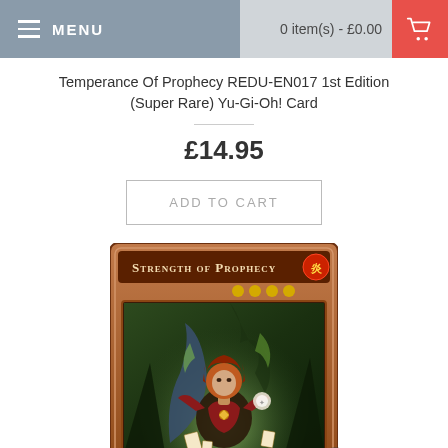MENU | 0 item(s) - £0.00
Temperance Of Prophecy REDU-EN017 1st Edition (Super Rare) Yu-Gi-Oh! Card
£14.95
ADD TO CART
[Figure (photo): Yu-Gi-Oh! trading card image showing 'Strength of Prophecy' — a fire attribute monster card with 4 stars, featuring a female spellcaster character with red hair wielding magical energy against a dark forest background. The card has a reddish-brown border typical of effect monster cards.]